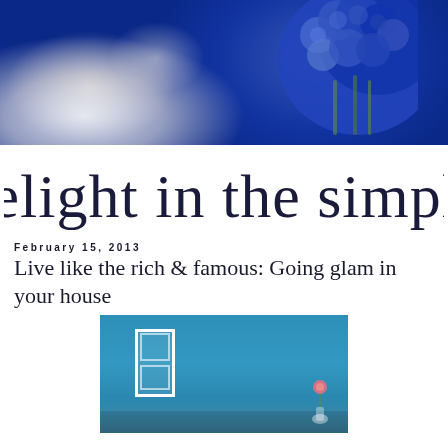[Figure (photo): Header banner photo: soft-focus table setting with white dishware and a bouquet of vibrant blue hyacinth flowers in a glass vase on the right side]
delight in the simple
February 15, 2013
Live like the rich & famous: Going glam in your house
[Figure (photo): Bedroom interior with a bright teal/blue accent wall, white door frame on the left, and a small flower arrangement on the right side]